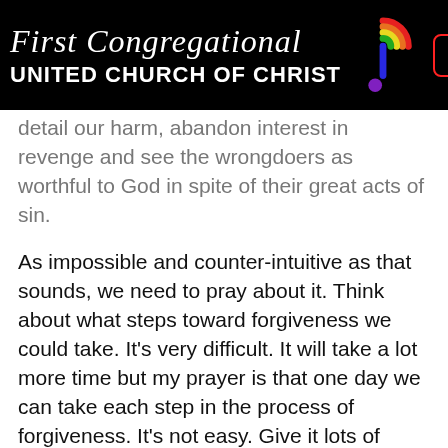First Congregational UNITED CHURCH OF CHRIST
detail our harm, abandon interest in revenge and see the wrongdoers as worthful to God in spite of their great acts of sin.
As impossible and counter-intuitive as that sounds, we need to pray about it. Think about what steps toward forgiveness we could take. It's very difficult. It will take a lot more time but my prayer is that one day we can take each step in the process of forgiveness. It's not easy. Give it lots of thought. Give it lots of prayer. In Mark 11 Jesus says: “Whenever you stand praying, forgive, if you have anything against anyone . . .”
This forgiveness stuff it is for well being, it's for